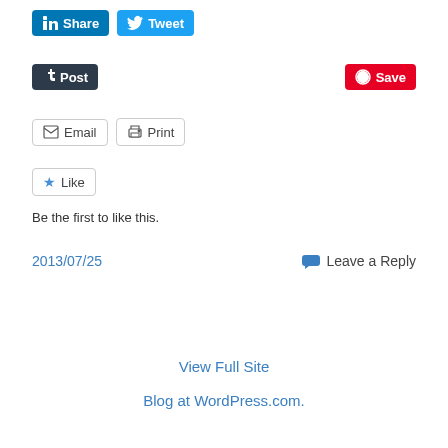[Figure (screenshot): Social share buttons row: LinkedIn Share button and Twitter Tweet button]
[Figure (screenshot): Tumblr Post button and Pinterest Save button]
[Figure (screenshot): Email and Print buttons]
[Figure (screenshot): Like button with star icon]
Be the first to like this.
2013/07/25
Leave a Reply
View Full Site
Blog at WordPress.com.